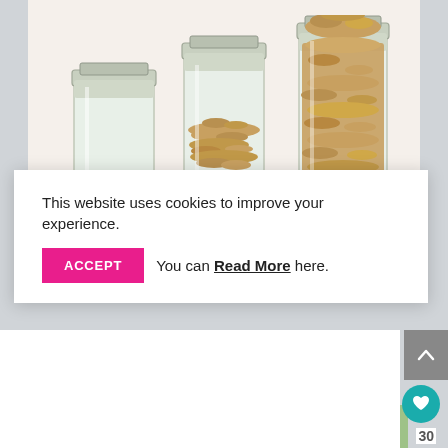[Figure (photo): Three glass mason jars with increasing amounts of coins — first jar empty/clear, second jar half-full of coins, third jar overflowing with coins — on white background]
This website uses cookies to improve your experience.
ACCEPT   You can Read More here.
64 OF THE BEST FRUGAL TIPS FOR FAMILIES
Shares: 8169
[Figure (photo): Partial view of a person's hair and background greenery at bottom of page]